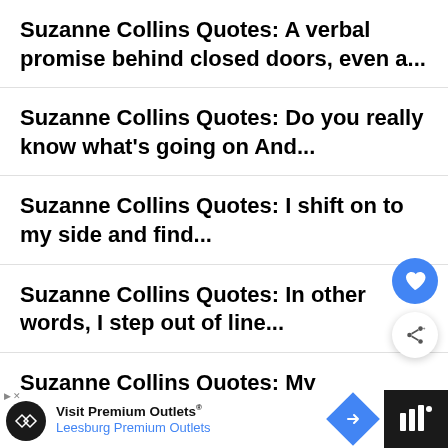Suzanne Collins Quotes: A verbal promise behind closed doors, even a...
Suzanne Collins Quotes: Do you really know what’s going on And...
Suzanne Collins Quotes: I shift on to my side and find...
Suzanne Collins Quotes: In other words, I step out of line...
Suzanne Collins Quotes: My mockingjay pin now lives with Cinna’s outfit,...
[Figure (screenshot): Advertisement banner for 'Visit Premium Outlets - Leesburg Premium Outlets' with a circular logo, blue diamond arrow icon, and dark right panel.]